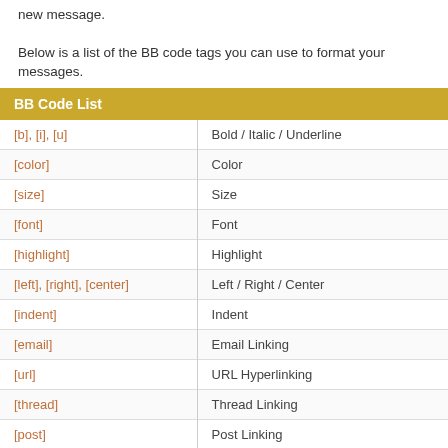new message.
Below is a list of the BB code tags you can use to format your messages.
| BB Code List |  |
| --- | --- |
| [b], [i], [u] | Bold / Italic / Underline |
| [color] | Color |
| [size] | Size |
| [font] | Font |
| [highlight] | Highlight |
| [left], [right], [center] | Left / Right / Center |
| [indent] | Indent |
| [email] | Email Linking |
| [url] | URL Hyperlinking |
| [thread] | Thread Linking |
| [post] | Post Linking |
| [list] | Bulleted Lists / Advanced Lists |
| [img] | Images |
| [video] | Videos |